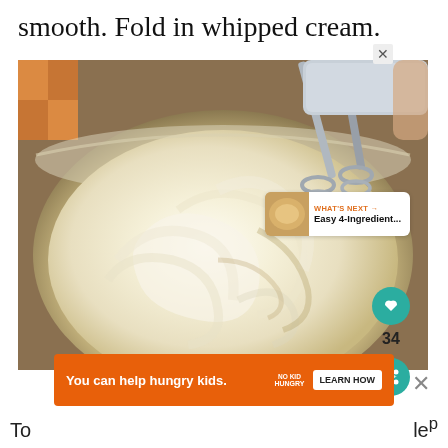smooth. Fold in whipped cream.
[Figure (photo): Photo of a glass mixing bowl with whipped cream being mixed by an electric hand mixer. The cream is fluffy and swirled. A UI overlay shows a heart/like button (teal circle), a count of 34, a share button (teal circle), and a 'WHAT'S NEXT → Easy 4-Ingredient...' thumbnail card in the lower right.]
You can help hungry kids. | NO KID HUNGRY | LEARN HOW
To ... le